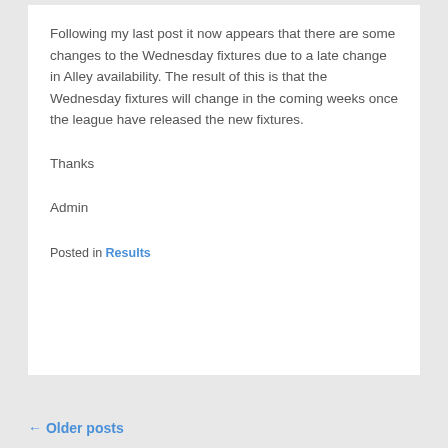Following my last post it now appears that there are some changes to the Wednesday fixtures due to a late change in Alley availability. The result of this is that the Wednesday fixtures will change in the coming weeks once the league have released the new fixtures.
Thanks
Admin
Posted in Results
← Older posts